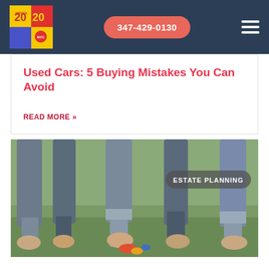347-429-0130
Used Cars: 5 Buying Mistakes You Can Avoid
READ MORE »
[Figure (photo): Feet and legs of multiple people standing barefoot on grass wearing rolled-up jeans, with an ESTATE PLANNING category badge overlay in the upper right]